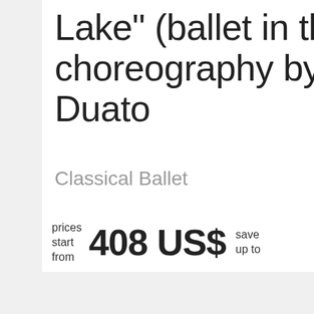Lake" (ballet in three a... choreography by Nach... Duato
Classical Ballet
prices start from   408 US$   save up to